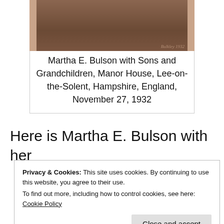[Figure (photo): Sepia-toned photograph of Martha E. Bulson with Sons and Grandchildren, partially cropped at top]
Martha E. Bulson with Sons and Grandchildren, Manor House, Lee-on-the-Solent, Hampshire, England, November 27, 1932
Here is Martha E. Bulson with her
Privacy & Cookies: This site uses cookies. By continuing to use this website, you agree to their use.
To find out more, including how to control cookies, see here: Cookie Policy
Close and accept